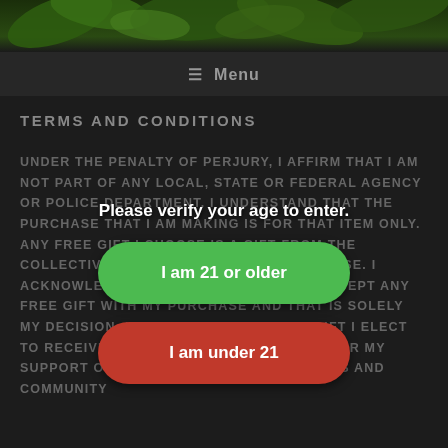[Figure (photo): Top banner with cannabis/marijuana leaves on dark green background]
≡ Menu
TERMS AND CONDITIONS
UNDER THE PENALTY OF PERJURY, I AFFIRM THAT I AM NOT PART OF ANY LOCAL, STATE OR FEDERAL AGENCY OR POLICE DEPARTMENT. I UNDERSTAND THAT THE PURCHASE THAT I AM MAKING IS FOR THAT ITEM ONLY. ANY FREE GIFT I CHOOSE IS A GIFT FROM THE COLLECTIVE AND CONSTITUTES NO PURCHASE. I ACKNOWLEDGE THAT I DO NOT HAVE TO ACCEPT ANY FREE GIFT WITH MY PURCHASE AND THAT IS SOLELY MY DECISION. I UNDERSTAND THAT ANY GIFT I ELECT TO RECEIVE IS A SHOW OF APPRECIATION FOR MY SUPPORT OF THE COLLECTIVE'S ENDEAVORS AND COMMUNITY
Please verify your age to enter.
I am 21 or older
I am under 21